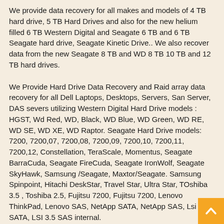We provide data recovery for all makes and models of 4 TB hard drive, 5 TB Hard Drives and also for the new helium filled 6 TB Western Digital and Seagate 6 TB and 6 TB Seagate hard drive, Seagate Kinetic Drive.. We also recover data from the new Seagate 8 TB and WD 8 TB 10 TB and 12 TB hard drives.
We Provide Hard Drive Data Recovery and Raid array data recovery for all Dell Laptops, Desktops, Servers, San Server, DAS severs utilizing Western Digital Hard Drive models : HGST, Wd Red, WD, Black, WD Blue, WD Green, WD RE, WD SE, WD XE, WD Raptor. Seagate Hard Drive models: 7200, 7200,07, 7200,08, 7200,09, 7200,10, 7200,11, 7200,12, Constellation, TeraScale, Momentus, Seagate BarraCuda, Seagate FireCuda, Seagate IronWolf, Seagate SkyHawk, Samsung /Seagate, Maxtor/Seagate. Samsung Spinpoint, Hitachi DeskStar, Travel Star, Ultra Star, TOshiba 3.5 , Toshiba 2.5, Fujitsu 7200, Fujitsu 7200, Lenovo ThinkPad, Lenovo SAS, NetApp SATA, NetApp SAS, Lsi 3.5 SATA, LSI 3.5 SAS internal.